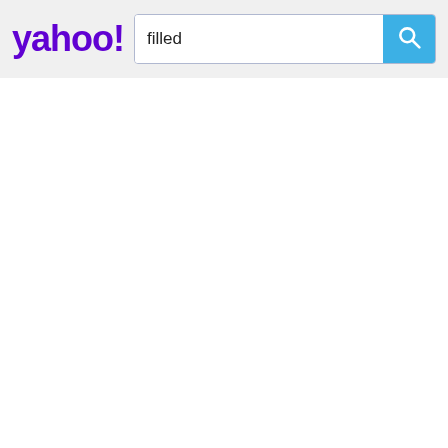[Figure (screenshot): Yahoo search bar UI with Yahoo logo on the left and a search input field containing the text 'filled', with a blue search button on the right.]
filled